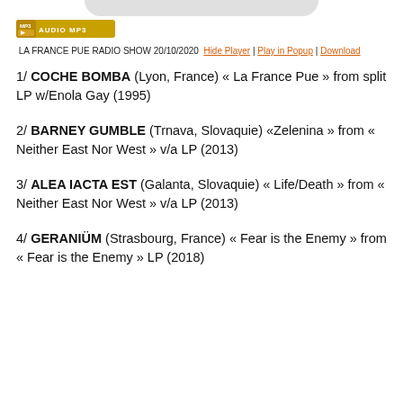[Figure (other): Audio MP3 badge/button with orange background]
LA FRANCE PUE RADIO SHOW 20/10/2020  Hide Player | Play in Popup | Download
1/ COCHE BOMBA (Lyon, France) « La France Pue » from split LP w/Enola Gay (1995)
2/ BARNEY GUMBLE (Trnava, Slovaquie) «Zelenina » from « Neither East Nor West » v/a LP (2013)
3/ ALEA IACTA EST (Galanta, Slovaquie) « Life/Death » from « Neither East Nor West » v/a LP (2013)
4/ GERANIÜM (Strasbourg, France) « Fear is the Enemy » from « Fear is the Enemy » LP (2018)